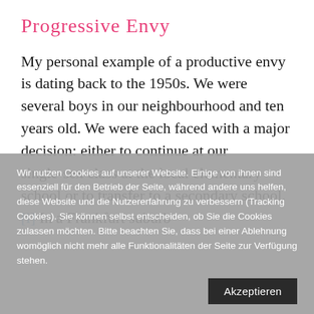Progressive Envy
My personal example of a productive envy is dating back to the 1950s. We were several boys in our neighbourhood and ten years old. We were each faced with a major decision: either to continue at our single-sex class at the local elementary school or to transfer to a secondary school. [i] In a Frankfurt suburb
Wir nutzen Cookies auf unserer Website. Einige von ihnen sind essenziell für den Betrieb der Seite, während andere uns helfen, diese Website und die Nutzererfahrung zu verbessern (Tracking Cookies). Sie können selbst entscheiden, ob Sie die Cookies zulassen möchten. Bitte beachten Sie, dass bei einer Ablehnung womöglich nicht mehr alle Funktionalitäten der Seite zur Verfügung stehen.
Akzeptieren